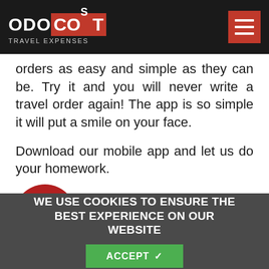ODOCOST TRAVEL EXPENSES
orders as easy and simple as they can be. Try it and you will never write a travel order again! The app is so simple it will put a smile on your face.
Download our mobile app and let us do your homework.
[Figure (illustration): Dark red circular icon with a map pin/location marker containing a wifi signal symbol]
Tracking vehicle distance
[Figure (illustration): Gray circular icon with a camera and plus symbol for adding costs]
Add costs
WE USE COOKIES TO ENSURE THE BEST EXPERIENCE ON OUR WEBSITE
ACCEPT ✓